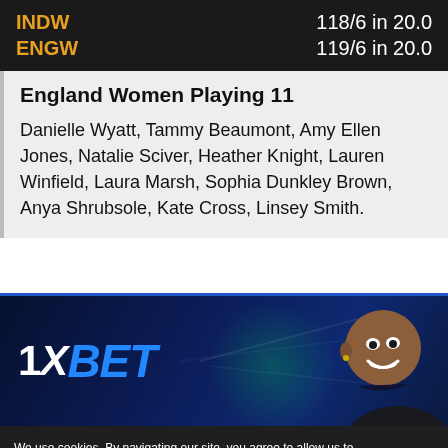INDW 118/6 in 20.0 | ENGW 119/6 in 20.0
England Women Playing 11
Danielle Wyatt, Tammy Beaumont, Amy Ellen Jones, Natalie Sciver, Heather Knight, Lauren Winfield, Laura Marsh, Sophia Dunkley Brown, Anya Shrubsole, Kate Cross, Linsey Smith.
[Figure (illustration): 1XBET advertisement banner with logo and smiling person on dark blue background]
We use cookies. By navigating our site, you agree to allow us to collect information based on these. This site will not work properly without cookies enabled. Read more in our terms and conditions.